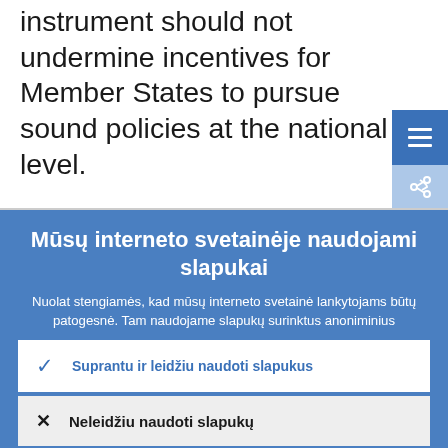instrument should not undermine incentives for Member States to pursue sound policies at the national level.
[Figure (screenshot): Cookie consent overlay on a government website in Lithuanian language, with accept and reject buttons]
Mūsų interneto svetainėje naudojami slapukai
Nuolat stengiamės, kad mūsų interneto svetainė lankytojams būtų patogesnė. Tam naudojame slapukų surinktus anoniminius duomenis.
Sužinokite daugiau, kaip naudojame slapukus
Suprantu ir leidžiu naudoti slapukus
Neleidžiu naudoti slapukų